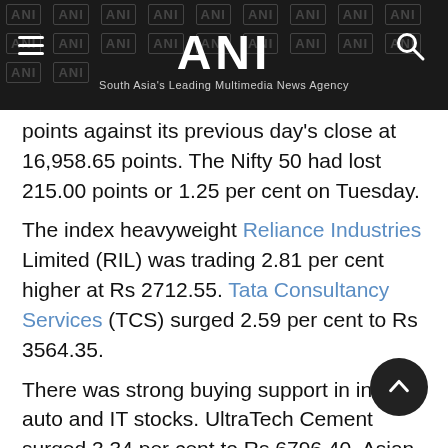ANI — South Asia's Leading Multimedia News Agency
points against its previous day's close at 16,958.65 points. The Nifty 50 had lost 215.00 points or 1.25 per cent on Tuesday.
The index heavyweight Reliance Industries Limited (RIL) was trading 2.81 per cent higher at Rs 2712.55. Tata Consultancy Services (TCS) surged 2.59 per cent to Rs 3564.35.
There was strong buying support in infra, auto and IT stocks. UltraTech Cement surged 3.34 per cent to Rs 6796.40. Asian Paints jumped 2.93 per